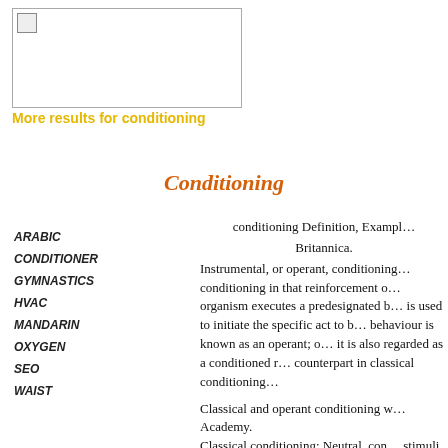[Figure (other): Placeholder image with broken image icon, bordered rectangle in top-left area]
More results for conditioning
Conditioning
ARABIC
CONDITIONER
GYMNASTICS
HVAC
MANDARIN
OXYGEN
SEO
WAIST
conditioning Definition, Examples … Britannica. Instrumental, or operant, conditioning … conditioning in that reinforcement o… organism executes a predesignated b… is used to initiate the specific act to b… behaviour is known as an operant; o… it is also regarded as a conditioned r… counterpart in classical conditioning…
Classical and operant conditioning w… Academy. Classical conditioning: Neutral, con… stimuli and responses. Classical con…